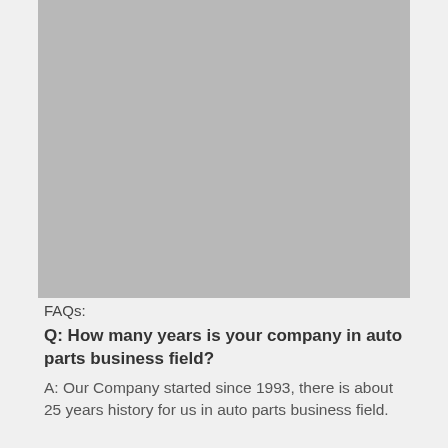[Figure (photo): Large gray placeholder image occupying the upper portion of the page]
FAQs:
Q: How many years is your company in auto parts business field?
A: Our Company started since 1993, there is about 25 years history for us in auto parts business field.